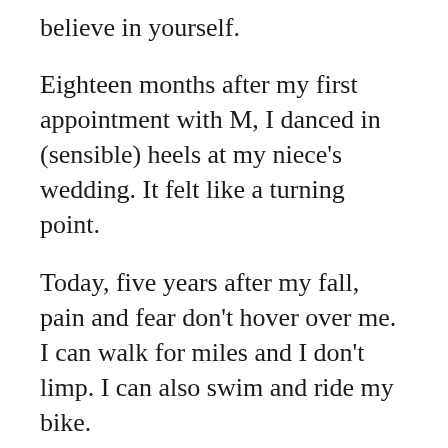believe in yourself.
Eighteen months after my first appointment with M, I danced in (sensible) heels at my niece's wedding. It felt like a turning point.
Today, five years after my fall, pain and fear don't hover over me. I can walk for miles and I don't limp. I can also swim and ride my bike.
It's counterintuitive, but the gravity of my injury and the intensity of this experience have left me feeling lucky. I'm lucky I crushed my leg and not my spine or skull. I'm lucky I live in an area densely populated with high-